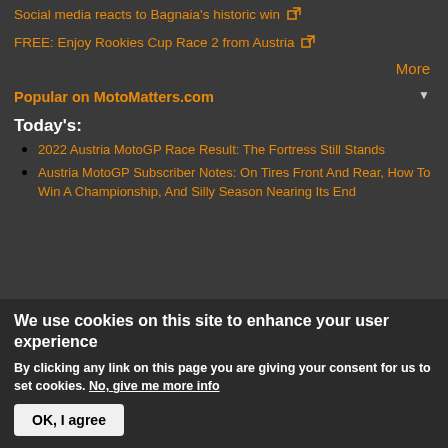Social media reacts to Bagnaia's historic win
FREE: Enjoy Rookies Cup Race 2 from Austria
More
Popular on MotoMatters.com
Today's:
2022 Austria MotoGP Race Result: The Fortress Still Stands
Austria MotoGP Subscriber Notes: On Tires Front And Rear, How To Win A Championship, And Silly Season Nearing Its End
We use cookies on this site to enhance your user experience
By clicking any link on this page you are giving your consent for us to set cookies. No, give me more info
OK, I agree